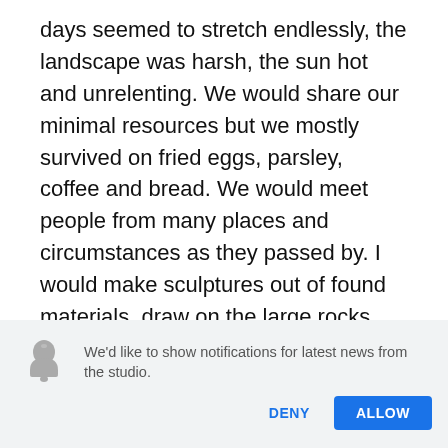days seemed to stretch endlessly, the landscape was harsh, the sun hot and unrelenting. We would share our minimal resources but we mostly survived on fried eggs, parsley, coffee and bread. We would meet people from many places and circumstances as they passed by. I would make sculptures out of found materials, draw on the large rocks with the charcoal sticks from extracted from the previous night's fire. It was a very lean and austere time.
We'd like to show notifications for latest news from the studio.